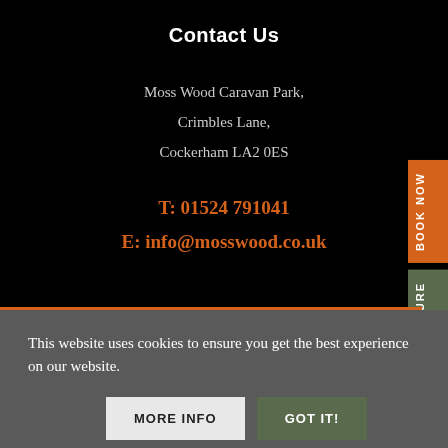Contact Us
Moss Wood Caravan Park,
Crimbles Lane,
Cockerham LA2 0ES
T: 01524 791041
E: info@mosswood.co.uk
This website uses cookies to ensure you get the best experience on our website.
MORE INFO
GOT IT!